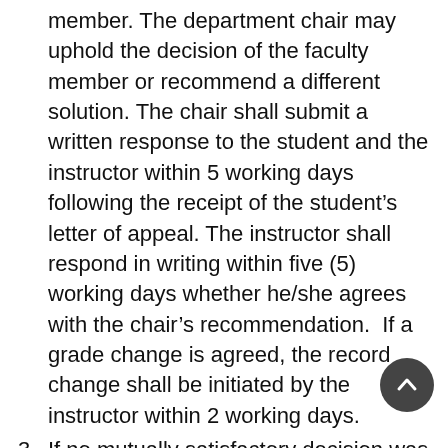member. The department chair may uphold the decision of the faculty member or recommend a different solution. The chair shall submit a written response to the student and the instructor within 5 working days following the receipt of the student's letter of appeal. The instructor shall respond in writing within five (5) working days whether he/she agrees with the chair's recommendation. If a grade change is agreed, the record change shall be initiated by the instructor within 2 working days.
3. If no mutually satisfactory decision was reached at Step 2, the student may appeal to the dean of the college (or designee) that houses the course. The written appeal must be submitted within five (5) working days of receipt of the instructor's response. The dean (or designee) shall review the recommendation and…